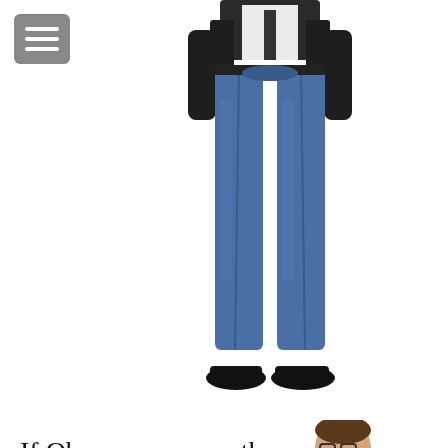[Figure (illustration): Menu/hamburger icon button in gray rounded rectangle, top-left corner]
[Figure (photo): Lower half of a man wearing a dark blazer and blue jeans with black dress shoes, white background, centered upper portion of page]
If Obama can wear them, so can you. Jeans are now acceptable everywhere: from the boardroom to the nightclub. Here's how to
[Figure (photo): Full figure of a man in a dark suit jacket, pink dress shirt, dark tie, and blue jeans, giving a thumbs up with one hand and holding a wine glass in the other, white background, right side of lower page]